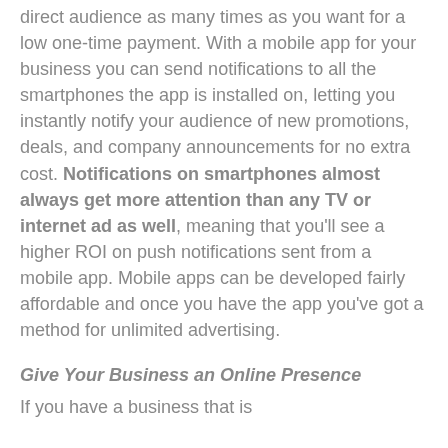direct audience as many times as you want for a low one-time payment. With a mobile app for your business you can send notifications to all the smartphones the app is installed on, letting you instantly notify your audience of new promotions, deals, and company announcements for no extra cost. Notifications on smartphones almost always get more attention than any TV or internet ad as well, meaning that you'll see a higher ROI on push notifications sent from a mobile app. Mobile apps can be developed fairly affordable and once you have the app you've got a method for unlimited advertising.
Give Your Business an Online Presence
If you have a business that is...